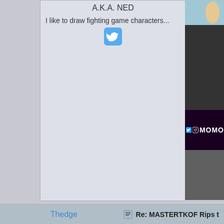A.K.A. NED
I like to draw fighting game characters...
[Figure (screenshot): Twitter bird icon (cyan/blue)]
[Figure (screenshot): Right side panel with dark background showing MOMO text with Twitter and Instagram icons on purple bar]
Thedge
Re: MASTERTKOF Rips t
[Figure (illustration): Pixel art fighting game character - muscular bald man in white pants with black belt, in fighting stance]
[Figure (other): Five stars rating: first two blue/purple, last three gold/yellow]
Lazy spriter
Demon in heaven gotta carry a knife
[Figure (other): Flag icons: Bolivia flag, PlayStation logo, globe icon]
Impressive indeed, gre
That's when I thought, "go
Just ain't my belief
Until I saw the holes
Inside his hand